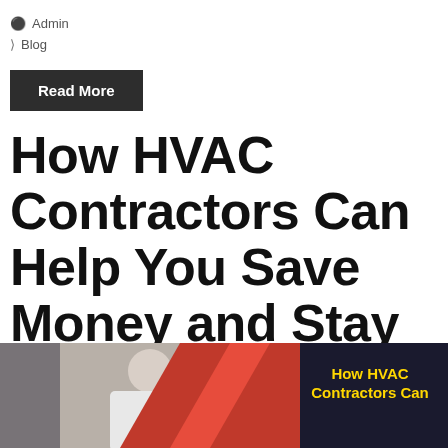Admin
Blog
Read More
How HVAC Contractors Can Help You Save Money and Stay Cool This Summer
[Figure (photo): Banner image showing an HVAC contractor working, with red diagonal stripe design and text reading 'How HVAC Contractors Can' in yellow on dark background]